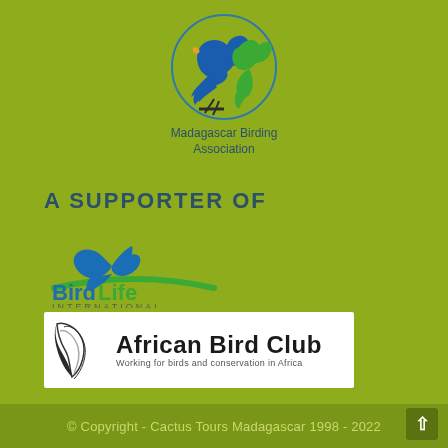[Figure (logo): Madagascar Birding Association logo: blue and green bird silhouettes inside a circle, with text 'Madagascar Birding Association' below]
A SUPPORTER OF
[Figure (logo): BirdLife International logo: blue flying bird silhouette above a green arc, with 'BirdLife INTERNATIONAL' text]
[Figure (logo): African Bird Club logo: white background with a black and white bird feather/wing illustration and bold text 'African Bird Club', subtext 'Working for birds and conservation in Africa']
© Copyright - Cactus Tours Madagascar 1998 - 2022